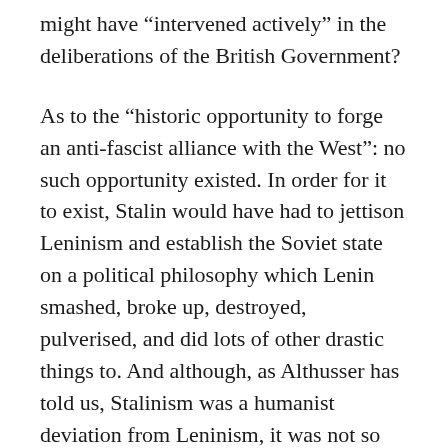might have “intervened actively” in the deliberations of the British Government?
As to the “historic opportunity to forge an anti-fascist alliance with the West”: no such opportunity existed. In order for it to exist, Stalin would have had to jettison Leninism and establish the Soviet state on a political philosophy which Lenin smashed, broke up, destroyed, pulverised, and did lots of other drastic things to. And although, as Althusser has told us, Stalinism was a humanist deviation from Leninism, it was not so deviant that it was prepared to adopt the liberal-democratic world outlook.